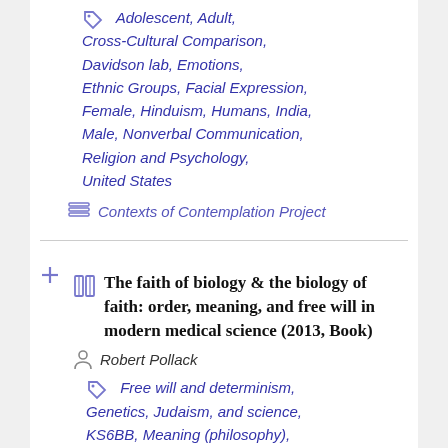Adolescent, Adult, Cross-Cultural Comparison, Davidson lab, Emotions, Ethnic Groups, Facial Expression, Female, Hinduism, Humans, India, Male, Nonverbal Communication, Religion and Psychology, United States
Contexts of Contemplation Project
The faith of biology & the biology of faith: order, meaning, and free will in modern medical science (2013, Book)
Robert Pollack
Free will and determinism, Genetics, Judaism, and science, KS6BB, Meaning (philosophy), Morality and ethics, Natural selection, Religion